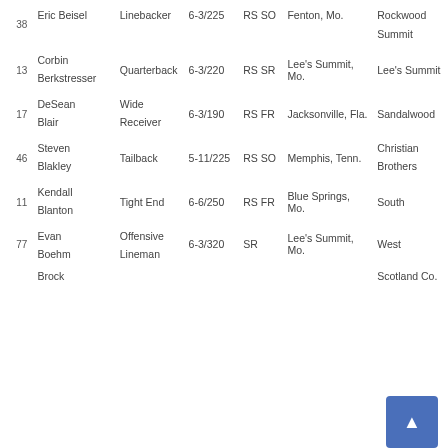| # | Name | Position | Ht/Wt | Yr | Hometown | High School |
| --- | --- | --- | --- | --- | --- | --- |
| 38 | Eric Beisel | Linebacker | 6-3/225 | RS SO | Fenton, Mo. | Rockwood Summit |
| 13 | Corbin Berkstresser | Quarterback | 6-3/220 | RS SR | Lee's Summit, Mo. | Lee's Summit |
| 17 | DeSean Blair | Wide Receiver | 6-3/190 | RS FR | Jacksonville, Fla. | Sandalwood |
| 46 | Steven Blakley | Tailback | 5-11/225 | RS SO | Memphis, Tenn. | Christian Brothers |
| 11 | Kendall Blanton | Tight End | 6-6/250 | RS FR | Blue Springs, Mo. | South |
| 77 | Evan Boehm | Offensive Lineman | 6-3/320 | SR | Lee's Summit, Mo. | West |
|  | Brock |  |  |  |  | Scotland Co. |